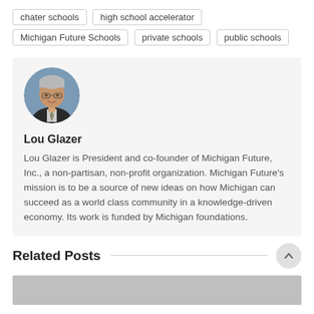chater schools
high school accelerator
Michigan Future Schools
private schools
public schools
[Figure (photo): Circular headshot of Lou Glazer, an older man with grey hair and glasses wearing a dark suit and tie]
Lou Glazer
Lou Glazer is President and co-founder of Michigan Future, Inc., a non-partisan, non-profit organization. Michigan Future’s mission is to be a source of new ideas on how Michigan can succeed as a world class community in a knowledge-driven economy. Its work is funded by Michigan foundations.
Related Posts